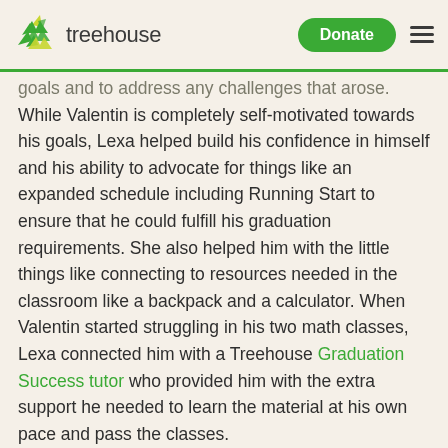treehouse | Donate
goals and to address any challenges that arose. While Valentin is completely self-motivated towards his goals, Lexa helped build his confidence in himself and his ability to advocate for things like an expanded schedule including Running Start to ensure that he could fulfill his graduation requirements. She also helped him with the little things like connecting to resources needed in the classroom like a backpack and a calculator. When Valentin started struggling in his two math classes, Lexa connected him with a Treehouse Graduation Success tutor who provided him with the extra support he needed to learn the material at his own pace and pass the classes.
Once graduation was in sight this spring, the